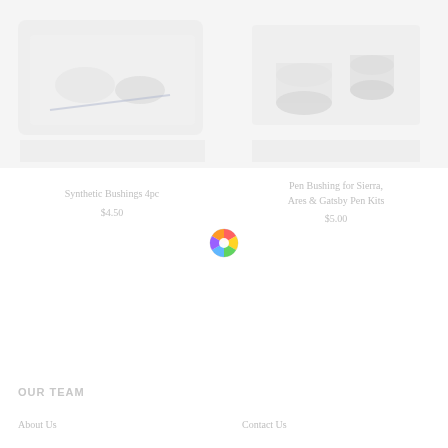[Figure (photo): Product photo of Synthetic Bushings 4pc, white/light colored items on white background]
[Figure (photo): Product photo of Pen Bushing for Sierra, Ares & Gatsby Pen Kits, white cylindrical items on white background]
Synthetic Bushings 4pc
$4.50
[Figure (other): Color picker wheel icon]
Pen Bushing for Sierra, Ares & Gatsby Pen Kits
$5.00
OUR TEAM
About Us
Contact Us